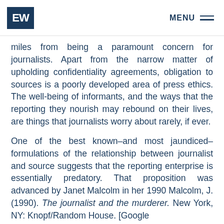EW | MENU
miles from being a paramount concern for journalists. Apart from the narrow matter of upholding confidentiality agreements, obligation to sources is a poorly developed area of press ethics. The well-being of informants, and the ways that the reporting they nourish may rebound on their lives, are things that journalists worry about rarely, if ever.
One of the best known–and most jaundiced–formulations of the relationship between journalist and source suggests that the reporting enterprise is essentially predatory. That proposition was advanced by Janet Malcolm in her 1990 Malcolm, J. (1990). The journalist and the murderer. New York, NY: Knopf/Random House. [Google